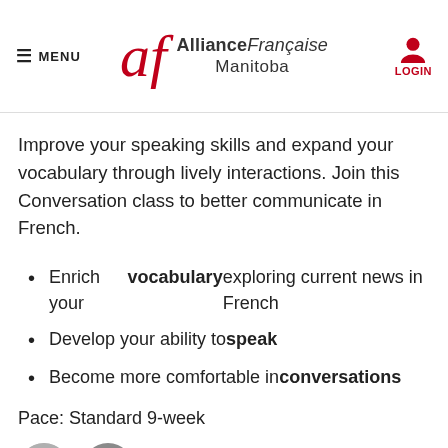MENU | Alliance Française Manitoba | LOGIN
Improve your speaking skills and expand your vocabulary through lively interactions. Join this Conversation class to better communicate in French.
Enrich your vocabulary exploring current news in French
Develop your ability to speak
Become more comfortable in conversations
Pace: Standard 9-week
[Figure (illustration): Person icon (avatar) and B2 level badge]
ONLINE CLASSES